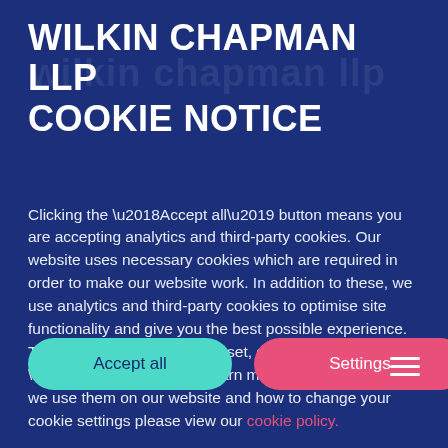WILKIN CHAPMAN LLP COOKIE NOTICE
Clicking the ‘Accept all’ button means you are accepting analytics and third-party cookies. Our website uses necessary cookies which are required in order to make our website work. In addition to these, we use analytics and third-party cookies to optimise site functionality and give you the best possible experience. To control which cookies are set, click ‘Settings’. To learn more about cookies, how we use them on our website and how to change your cookie settings please view our cookie policy.
[Figure (other): Two buttons: 'Accept all' (teal/cyan rounded button) and 'Settings' (pink/red rounded button), and a hamburger menu icon in the bottom right corner.]